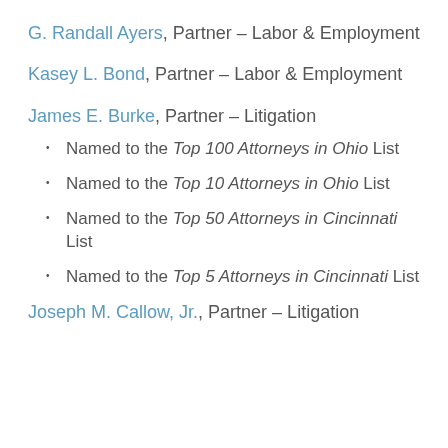G. Randall Ayers, Partner – Labor & Employment
Kasey L. Bond, Partner – Labor & Employment
James E. Burke, Partner – Litigation
Named to the Top 100 Attorneys in Ohio List
Named to the Top 10 Attorneys in Ohio List
Named to the Top 50 Attorneys in Cincinnati List
Named to the Top 5 Attorneys in Cincinnati List
Joseph M. Callow, Jr., Partner – Litigation